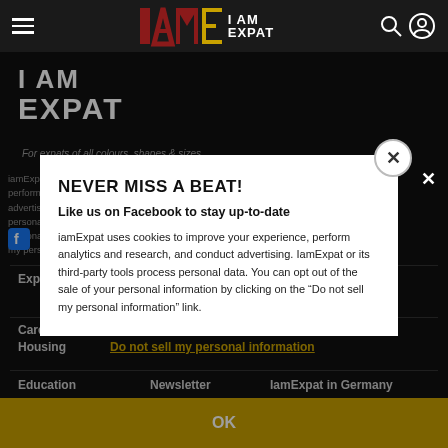IAmExpat navigation bar
[Figure (logo): IAmExpat logo in colorful block letters on dark nav bar]
I AM EXPAT
For expats of all colours, shapes & sizes
iamExpat uses cookies to improve your experience, perform analytics and research, and conduct advertising. IamExpat or its third-party tools process personal data. You can opt out of the sale of your personal information by clicking on the 'Do not sell my personal information' link.
NEVER MISS A BEAT!
Like us on Facebook to stay up-to-date
Expat
Career
Partners
Advertise
Housing
Do not sell my personal information
Education
Newsletter
IamExpat in Germany
OK